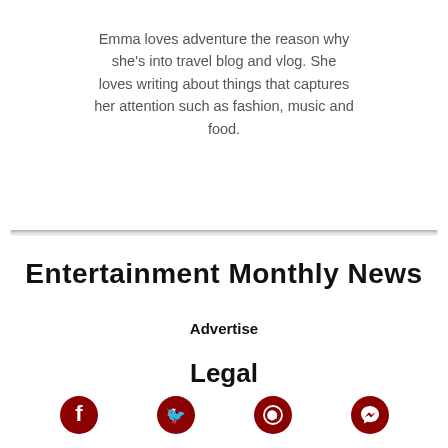Emma loves adventure the reason why she's into travel blog and vlog. She loves writing about things that captures her attention such as fashion, music and food.
Entertainment Monthly News
Advertise
Legal
[Figure (other): Social media icons: Facebook, Twitter, WhatsApp, Messenger — circular dark red icons in a row at the bottom of the page]